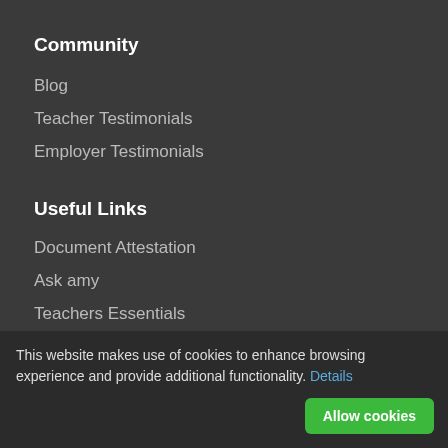Community
Blog
Teacher Testimonials
Employer Testimonials
Useful Links
Document Attestation
Ask amy
Teachers Essentials
TELF courses
Professional development
CSR/Charities
Get in Touch
[Figure (illustration): Social media icons: Facebook, LinkedIn, Twitter, Google+]
This website makes use of cookies to enhance browsing experience and provide additional functionality. Details
Allow cookies